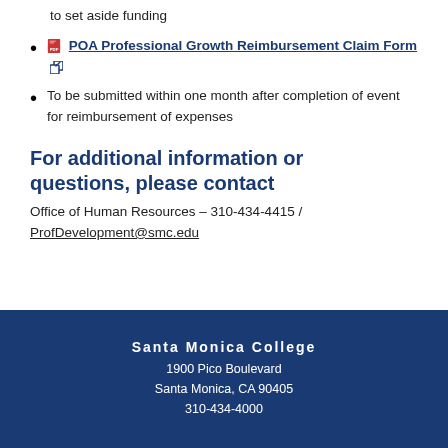to be submitted at least three weeks prior to event to set aside funding
POA Professional Growth Reimbursement Claim Form
To be submitted within one month after completion of event for reimbursement of expenses
For additional information or questions, please contact
Office of Human Resources – 310-434-4415 / ProfDevelopment@smc.edu
Santa Monica College
1900 Pico Boulevard
Santa Monica, CA 90405
310-434-4000